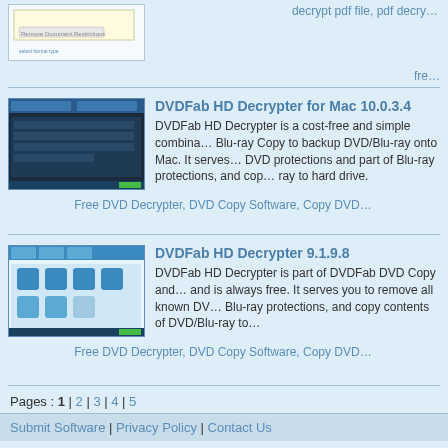password without damage after original file.
decrypt pdf file, pdf decry…
fre…
DVDFab HD Decrypter for Mac 10.0.3.4
DVDFab HD Decrypter is a cost-free and simple combina… Blu-ray Copy to backup DVD/Blu-ray onto Mac. It serves… DVD protections and part of Blu-ray protections, and cop… ray to hard drive.
Free DVD Decrypter, DVD Copy Software, Copy DVD…
DVDFab HD Decrypter 9.1.9.8
DVDFab HD Decrypter is part of DVDFab DVD Copy and… and is always free. It serves you to remove all known DV… Blu-ray protections, and copy contents of DVD/Blu-ray to…
Free DVD Decrypter, DVD Copy Software, Copy DVD…
Pages : 1 | 2 | 3 | 4 | 5
Submit Software | Privacy Policy | Contact Us